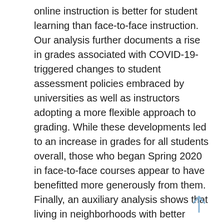online instruction is better for student learning than face-to-face instruction. Our analysis further documents a rise in grades associated with COVID-19-triggered changes to student assessment policies embraced by universities as well as instructors adopting a more flexible approach to grading. While these developments led to an increase in grades for all students overall, those who began Spring 2020 in face-to-face courses appear to have benefitted more generously from them. Finally, an auxiliary analysis shows that living in neighborhoods with better broadband technology is associated with a larger increase in grades among students who had to switch from in-person to online instruction during COVID-19. This finding supports the argument that unequal access to technology might have caused learning disparities to get deepened during the pandemic.